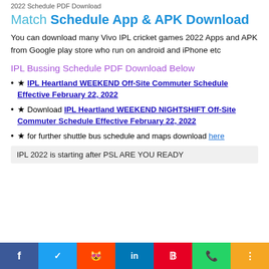2022 Schedule PDF Download
Match Schedule App & APK Download
You can download many Vivo IPL cricket games 2022 Apps and APK from Google play store who run on android and iPhone etc
IPL Bussing Schedule PDF Download Below
★ IPL Heartland WEEKEND Off-Site Commuter Schedule Effective February 22, 2022
★ Download IPL Heartland WEEKEND NIGHTSHIFT Off-Site Commuter Schedule Effective February 22, 2022
★ for further shuttle bus schedule and maps download here
IPL 2022 is starting after PSL ARE YOU READY
f  Twitter  Reddit  in  P  WhatsApp  Share